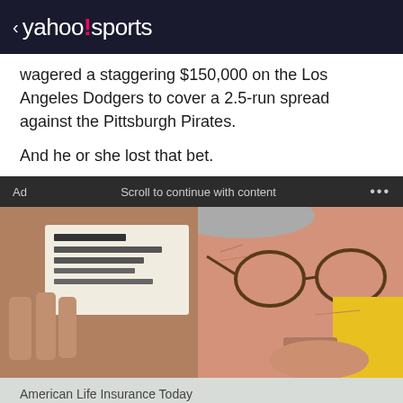< yahoo!sports
wagered a staggering $150,000 on the Los Angeles Dodgers to cover a 2.5-run spread against the Pittsburgh Pirates.
And he or she lost that bet.
Ad   Scroll to continue with content   ...
[Figure (photo): An elderly person wearing glasses and a yellow garment, holding up what appears to be a document or ticket close to the camera.]
American Life Insurance Today
Adults Born 1952-99 Get $250K Life Ins For